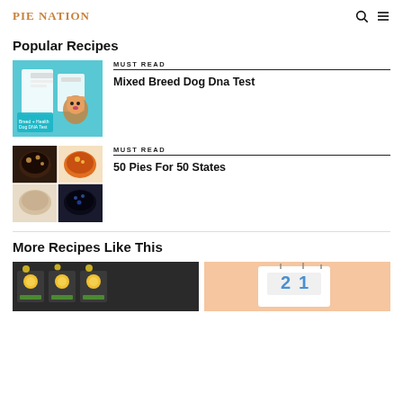PIE NATION
Popular Recipes
[Figure (photo): Dog DNA test kit product photo with phone and packaging]
MUST READ
Mixed Breed Dog Dna Test
[Figure (photo): Collage of four different pie photos]
MUST READ
50 Pies For 50 States
More Recipes Like This
[Figure (photo): Cupcakes with sunflowers in a display case]
[Figure (photo): White cake with blue number decorations]